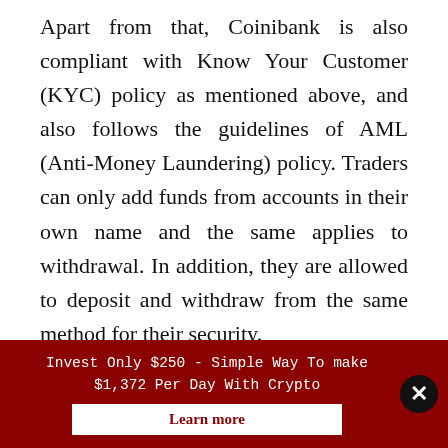Apart from that, Coinibank is also compliant with Know Your Customer (KYC) policy as mentioned above, and also follows the guidelines of AML (Anti-Money Laundering) policy. Traders can only add funds from accounts in their own name and the same applies to withdrawal. In addition, they are allowed to deposit and withdraw from the same method for their security.
Invest Only $250 - Simple Way To make $1,372 Per Day With Crypto
Learn more